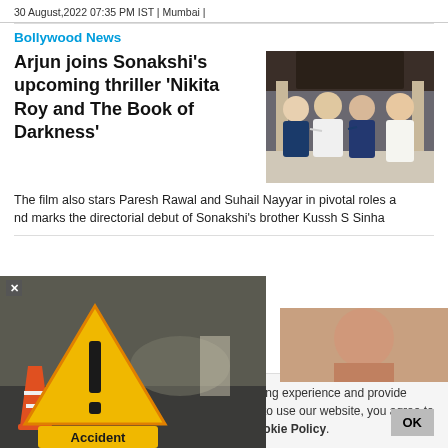30 August,2022 07:35 PM IST | Mumbai |
Bollywood News
Arjun joins Sonakshi's upcoming thriller 'Nikita Roy and The Book of Darkness'
[Figure (photo): Group photo of four people standing together in front of a building]
The film also stars Paresh Rawal and Suhail Nayyar in pivotal roles and marks the directorial debut of Sonakshi's brother Kussh S Sinha
[Figure (photo): Popup advertisement showing an accident warning sign with yellow triangle and exclamation mark, with text 'Accident' and road accident scene in background]
[Figure (photo): Partial image of a person, visible on the right side behind the popup]
...nilar technologies, to enhance your browsing experience and provide personalised recommendations. By continuing to use our website, you agree to our Privacy Policy and Cookie Policy.